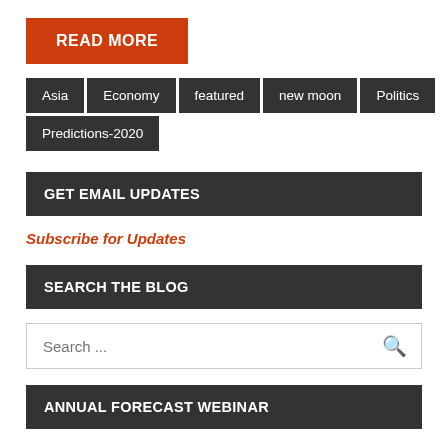READ MORE
Asia
Economy
featured
new moon
Politics
Predictions-2020
GET EMAIL UPDATES
Subscribe for Updates
SEARCH THE BLOG
Search ...
ANNUAL FORECAST WEBINAR